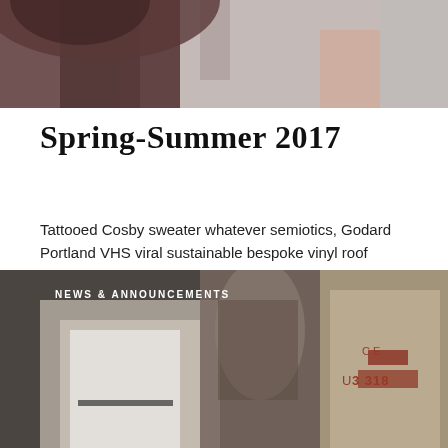[Figure (photo): Partial view of a person wearing dark brown/maroon clothing against a grey background, cropped at the top of the page]
Spring-Summer 2017
Tattooed Cosby sweater whatever semiotics, Godard Portland VHS viral sustainable bespoke vinyl roof party. Shabby…
CONTINUE READING
[Figure (photo): Dark editorial photo showing a tattooed person's arm holding white packages/bags, with burlap sacks marked '3 318' in the background. Overlay text reads 'NEWS & ANNOUNCEMENTS']